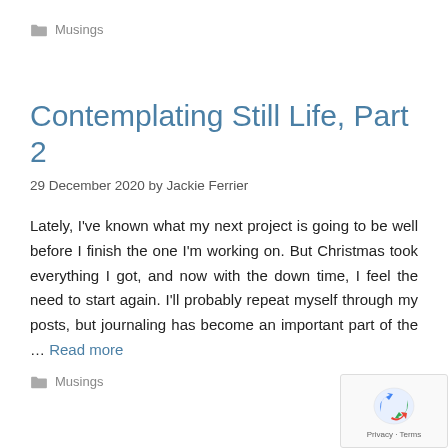📁 Musings
Contemplating Still Life, Part 2
29 December 2020 by Jackie Ferrier
Lately, I've known what my next project is going to be well before I finish the one I'm working on. But Christmas took everything I got, and now with the down time, I feel the need to start again. I'll probably repeat myself through my posts, but journaling has become an important part of the … Read more
📁 Musings
[Figure (logo): Google reCAPTCHA widget with Privacy and Terms link]